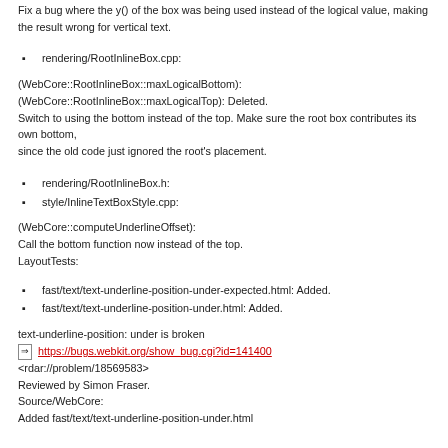Fix a bug where the y() of the box was being used instead of the logical value, making the result wrong for vertical text.
rendering/RootInlineBox.cpp:
(WebCore::RootInlineBox::maxLogicalBottom): (WebCore::RootInlineBox::maxLogicalTop): Deleted. Switch to using the bottom instead of the top. Make sure the root box contributes its own bottom, since the old code just ignored the root's placement.
rendering/RootInlineBox.h:
style/InlineTextBoxStyle.cpp:
(WebCore::computeUnderlineOffset): Call the bottom function now instead of the top. LayoutTests:
fast/text/text-underline-position-under-expected.html: Added.
fast/text/text-underline-position-under.html: Added.
text-underline-position: under is broken
⇒ https://bugs.webkit.org/show_bug.cgi?id=141400
<rdar://problem/18569583>
Reviewed by Simon Fraser.
Source/WebCore:
Added fast/text/text-underline-position-under.html